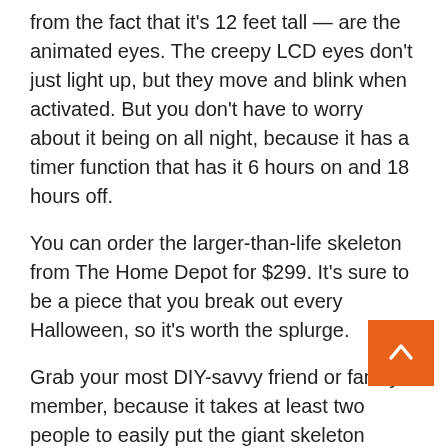from the fact that it's 12 feet tall — are the animated eyes. The creepy LCD eyes don't just light up, but they move and blink when activated. But you don't have to worry about it being on all night, because it has a timer function that has it 6 hours on and 18 hours off.
You can order the larger-than-life skeleton from The Home Depot for $299. It's sure to be a piece that you break out every Halloween, so it's worth the splurge.
Grab your most DIY-savvy friend or family member, because it takes at least two people to easily put the giant skeleton together. Now all you need is a fog machine and maybe a spotlight to really make your front ready for Halloween.
Read More:
You Can Get Halloween-Ready Unicorn and Dragon